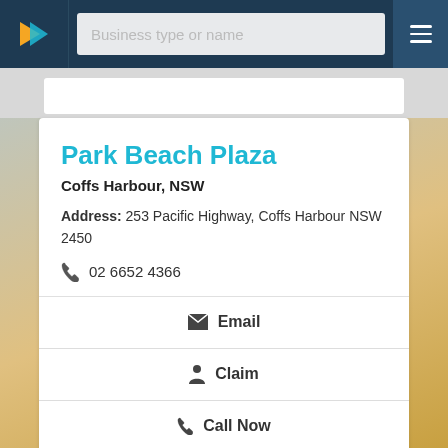[Figure (screenshot): Navigation bar with logo, search field labeled 'Business type or name', and hamburger menu on dark blue background]
Park Beach Plaza
Coffs Harbour, NSW
Address: 253 Pacific Highway, Coffs Harbour NSW 2450
02 6652 4366
Email
Claim
Call Now
View Details